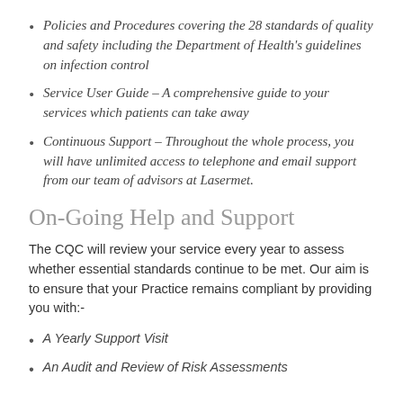Policies and Procedures covering the 28 standards of quality and safety including the Department of Health's guidelines on infection control
Service User Guide – A comprehensive guide to your services which patients can take away
Continuous Support – Throughout the whole process, you will have unlimited access to telephone and email support from our team of advisors at Lasermet.
On-Going Help and Support
The CQC will review your service every year to assess whether essential standards continue to be met. Our aim is to ensure that your Practice remains compliant by providing you with:-
A Yearly Support Visit
An Audit and Review of Risk Assessments